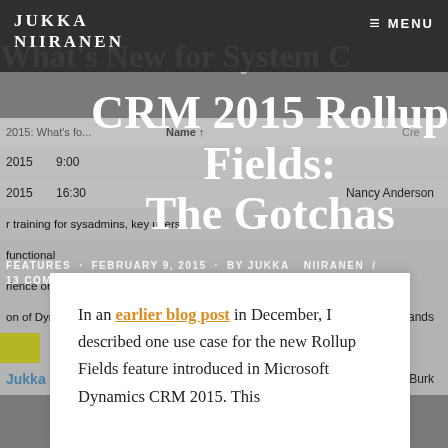JUKKA NIIRANEN
≡ MENU
[Figure (screenshot): Background screenshot of a Microsoft Dynamics CRM 2015 list view showing rows with dates (2015, 9:00, 16:30), names (Nancy Anderson, Patrick Sands, Susan Burk), and a Name column header. A blog post title 'What's New for System C...' is partially visible at top.]
CRM 2015 Rollup Fields: The Gotchas
FEATURES  FEBRUARY 9, 2015  by JUKKA NIIRANEN  /  13 COMMENTS
In an earlier blog post in December, I described one use case for the new Rollup Fields feature introduced in Microsoft Dynamics CRM 2015. This